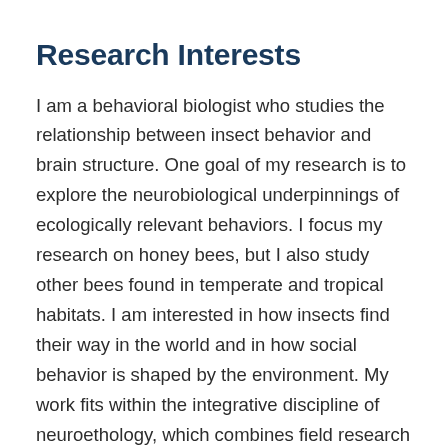Research Interests
I am a behavioral biologist who studies the relationship between insect behavior and brain structure. One goal of my research is to explore the neurobiological underpinnings of ecologically relevant behaviors. I focus my research on honey bees, but I also study other bees found in temperate and tropical habitats. I am interested in how insects find their way in the world and in how social behavior is shaped by the environment. My work fits within the integrative discipline of neuroethology, which combines field research using insects in nature with laboratory studies of learning and the brain.